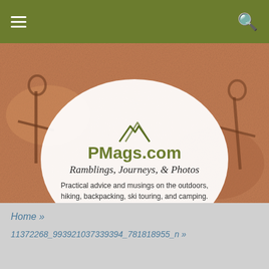Navigation bar with hamburger menu and search icon
[Figure (photo): Background photo of rock art / petroglyphs on reddish-brown stone surface]
PMags.com
Ramblings, Journeys, & Photos
Practical advice and musings on the outdoors, hiking, backpacking, ski touring, and camping.
[Figure (infographic): Row of six social media icon buttons: Facebook, Twitter, RSS feed, Pinterest, YouTube, Instagram]
Home »
11372268_993921037339394_781818955_n »